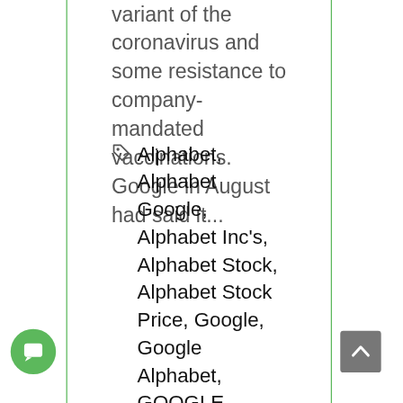variant of the coronavirus and some resistance to company-mandated vaccinations. Google in August had said it...
Alphabet, Alphabet Google, Alphabet Inc's, Alphabet Stock, Alphabet Stock Price, Google, Google Alphabet, GOOGLE Market News, GOOGLE Market Outlook, GOOGLE Market update, Google Microsoft Stocks, Google news, google outlook, Google Share, Google Shares,